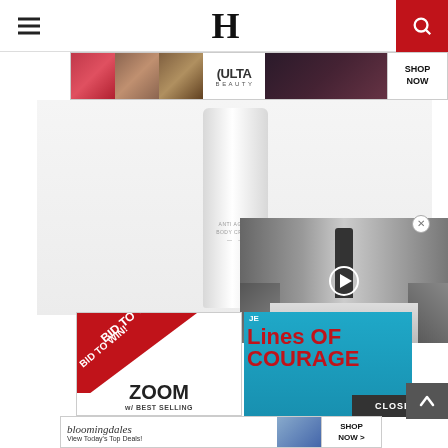H (Header logo with hamburger menu and search icon)
[Figure (photo): Ulta Beauty banner ad with makeup photos (lips, brush, eye), Ulta logo, eye close-up, and SHOP NOW button]
[Figure (photo): Anti Aging Body Cream product photo on white background - white tube on light grey surface]
[Figure (photo): Fashion runway video overlay showing model walking with play button, audience seated on sides]
[Figure (photo): BID TO WIN! ZOOM w/ BEST SELLING advertisement with red diagonal banner]
[Figure (photo): Lines of Courage book advertisement with red bold text on teal background]
[Figure (photo): Bloomingdales advertisement - View Today's Top Deals! with SHOP NOW button and model in hat]